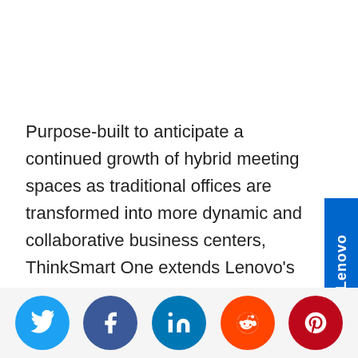Purpose-built to anticipate a continued growth of hybrid meeting spaces as traditional offices are transformed into more dynamic and collaborative business centers, ThinkSmart One extends Lenovo's video conferencing and collaboration platforms that play a critical role in helping employee productivity and
[Figure (other): Lenovo brand sidebar label — vertical blue rectangle with 'Lenovo' text rotated vertically in white]
[Figure (other): Social sharing buttons row: Twitter (blue), Facebook (dark blue), LinkedIn (blue), Reddit (orange), Pinterest (dark red)]